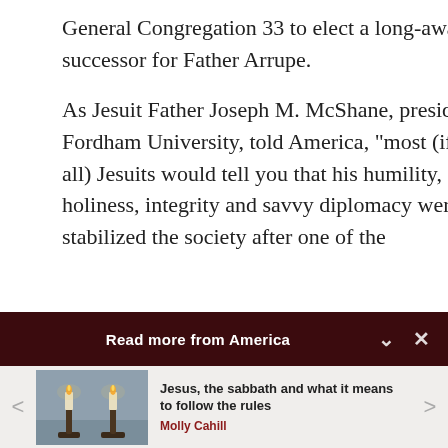General Congregation 33 to elect a long-awaited successor for Father Arrupe.
As Jesuit Father Joseph M. McShane, president of Fordham University, told America, “most (if not all) Jesuits would tell you that his humility, holiness, integrity and savvy diplomacy were what stabilized the society after one of the
Read more from America
[Figure (photo): Photo of two lit candles in candlesticks on a surface, dim ambient light]
Jesus, the sabbath and what it means to follow the rules
Molly Cahill